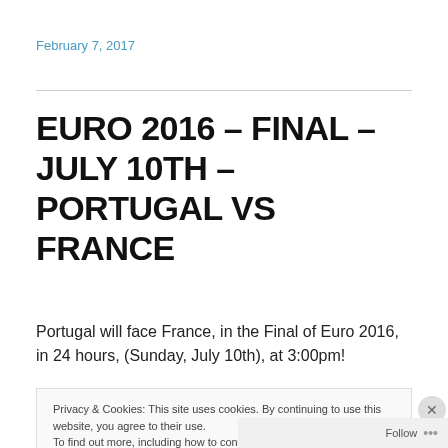February 7, 2017
EURO 2016 – FINAL – JULY 10TH – PORTUGAL VS FRANCE
Portugal will face France, in the Final of Euro 2016, in 24 hours, (Sunday, July 10th), at 3:00pm!
Privacy & Cookies: This site uses cookies. By continuing to use this website, you agree to their use.
To find out more, including how to control cookies, see here: Cookie Policy